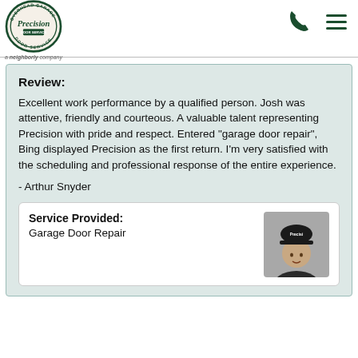[Figure (logo): Precision Door Service overhead garage logo - circular badge with dark green border]
a neighborly company
Review:
Excellent work performance by a qualified person. Josh was attentive, friendly and courteous. A valuable talent representing Precision with pride and respect. Entered "garage door repair", Bing displayed Precision as the first return. I'm very satisfied with the scheduling and professional response of the entire experience.
- Arthur Snyder
Service Provided:
Garage Door Repair
[Figure (photo): Technician wearing a Precision branded cap, gray background, portrait photo]